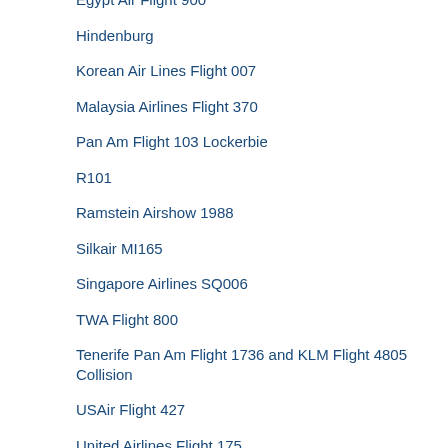Egypt Air Flight 900
Hindenburg
Korean Air Lines Flight 007
Malaysia Airlines Flight 370
Pan Am Flight 103 Lockerbie
R101
Ramstein Airshow 1988
Silkair MI165
Singapore Airlines SQ006
TWA Flight 800
Tenerife Pan Am Flight 1736 and KLM Flight 4805 Collision
USAir Flight 427
United Airlines Flight 175